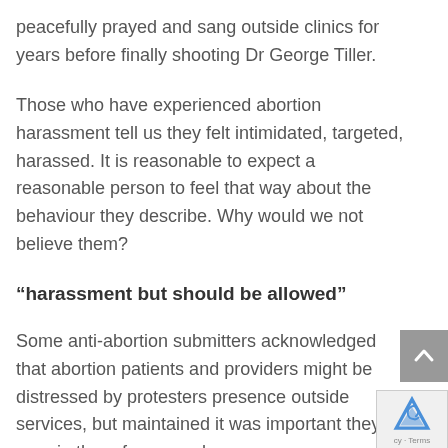peacefully prayed and sang outside clinics for years before finally shooting Dr George Tiller.
Those who have experienced abortion harassment tell us they felt intimidated, targeted, harassed. It is reasonable to expect a reasonable person to feel that way about the behaviour they describe. Why would we not believe them?
“harassment but should be allowed”
Some anti-abortion submitters acknowledged that abortion patients and providers might be distressed by protesters presence outside services, but maintained it was important they remain there for several reasons: